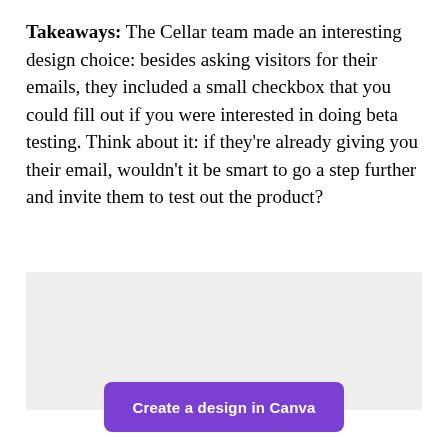Takeaways: The Cellar team made an interesting design choice: besides asking visitors for their emails, they included a small checkbox that you could fill out if you were interested in doing beta testing. Think about it: if they're already giving you their email, wouldn't it be smart to go a step further and invite them to test out the product?
[Figure (other): Light gray rectangular placeholder image]
Create a design in Canva